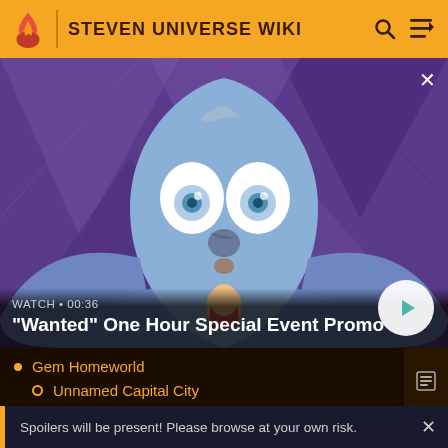STEVEN UNIVERSE WIKI
[Figure (screenshot): Animated scene from Steven Universe showing a large blue gem character with wide eyes holding a small Steven character, purple geometric background. Overlaid with video player UI: 'WATCH • 00:36' label, title '"Wanted" One Hour Special Event Promo', and a circular play button.]
Gem Homeworld
Unnamed Capital City
Deep Cavern
Spoilers will be present! Please browse at your own risk.